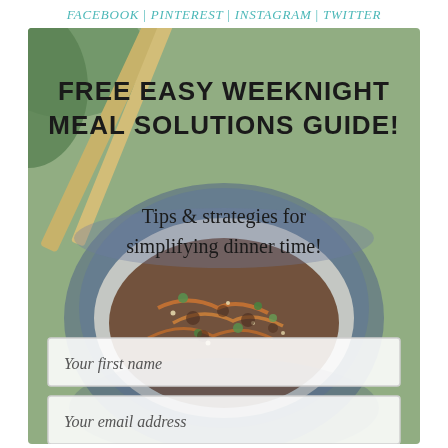FACEBOOK | PINTEREST | INSTAGRAM | TWITTER
[Figure (photo): Food photo showing a bowl of Asian-style ground meat dish with rice, garnished with green onions and sesame seeds, with chopsticks resting on the bowl. Background is blurred.]
FREE EASY WEEKNIGHT MEAL SOLUTIONS GUIDE!
Tips & strategies for simplifying dinner time!
Your first name
Your email address